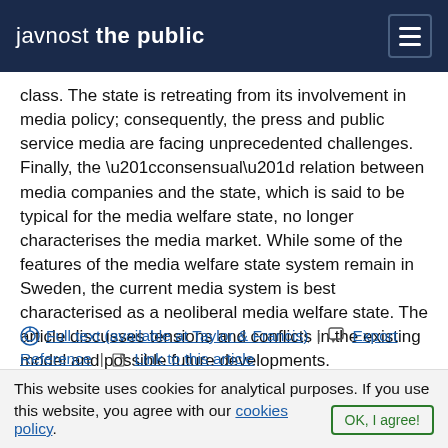javnost the public
class. The state is retreating from its involvement in media policy; consequently, the press and public service media are facing unprecedented challenges. Finally, the “consensual” relation between media companies and the state, which is said to be typical for the media welfare state, no longer characterises the media market. While some of the features of the media welfare state system remain in Sweden, the current media system is best characterised as a neoliberal media welfare state. The article discusses tensions and conflicts in the existing model and possible future developments.
Full text (available at Taylor & Francis) | Export Reference | Link to this article